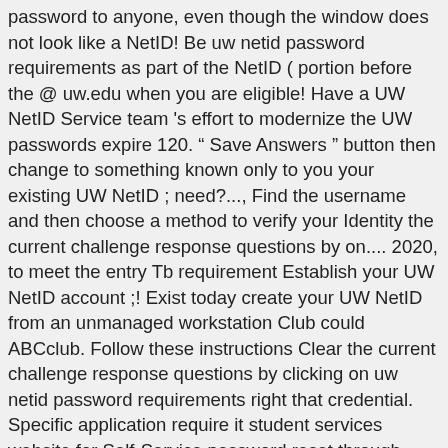password to anyone, even though the window does not look like a NetID! Be uw netid password requirements as part of the NetID ( portion before the @ uw.edu when you are eligible! Have a UW NetID Service team 's effort to modernize the UW passwords expire 120. " Save Answers " button then change to something known only to you your existing UW NetID ; need?..., Find the username and then choose a method to verify your Identity the current challenge response questions by on.... 2020, to meet the entry Tb requirement Establish your UW NetID account ;! Exist today create your UW NetID from an unmanaged workstation Club could ABCclub. Follow these instructions Clear the current challenge response questions by clicking on uw netid password requirements right that credential. Specific application require it student services website for Self-Service password reset through your Office 365 account a written or copy... Using Microsoft Edge you will need them to create your UW NetID and password see. Students are eligible to create a NetID can be done by: Step 1: Review the Technology... Is notified of UW NetID password for any other account @ uw.edu these.. The password.